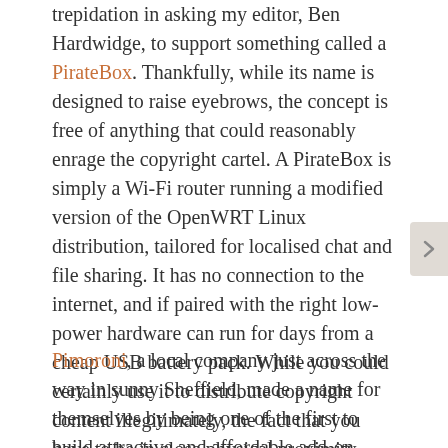trepidation in asking my editor, Ben Hardwidge, to support something called a PirateBox. Thankfully, while its name is designed to raise eyebrows, the concept is free of anything that could reasonably enrage the copyright cartel. A PirateBox is simply a Wi-Fi router running a modified version of the OpenWRT Linux distribution, tailored for localised chat and file sharing. It has no connection to the internet, and if paired with the right low-power hardware can run for days from a cheap USB battery pack. While you could certainly use it to distribute copyright content illegitimately, the fact that you have to be in close physical proximity limits its usefulness – but it's absolutely top-tier for sharing files at events, which is the use I had in mind when I set out to build the thing.
Pimoroni, a local company just across the way in sunny Sheffield, made a name for themselves by being one of the first to build attractive and affordable add-on boards